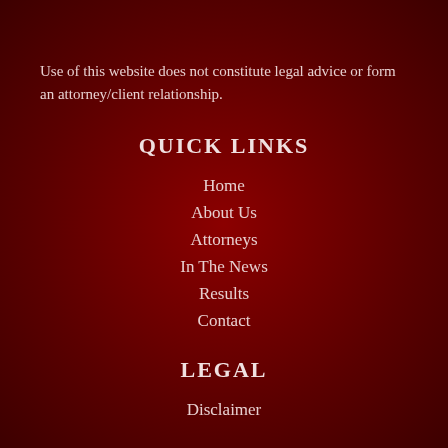Use of this website does not constitute legal advice or form an attorney/client relationship.
QUICK LINKS
Home
About Us
Attorneys
In The News
Results
Contact
LEGAL
Disclaimer